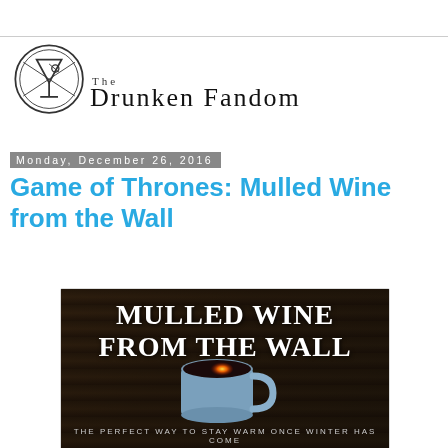The Drunken Fandom
Monday, December 26, 2016
Game of Thrones: Mulled Wine from the Wall
[Figure (photo): Promotional image for Mulled Wine from the Wall recipe — dark background with text 'MULLED WINE FROM THE WALL' and a mug of dark wine with glowing embers. Subtitle: 'The perfect way to stay warm once winter has come']